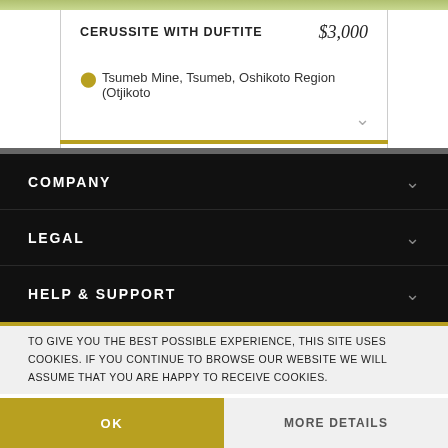CERUSSITE WITH DUFTITE
$3,000
Tsumeb Mine, Tsumeb, Oshikoto Region (Otjikoto
COMPANY
LEGAL
HELP & SUPPORT
TO GIVE YOU THE BEST POSSIBLE EXPERIENCE, THIS SITE USES COOKIES. IF YOU CONTINUE TO BROWSE OUR WEBSITE WE WILL ASSUME THAT YOU ARE HAPPY TO RECEIVE COOKIES.
OK
MORE DETAILS